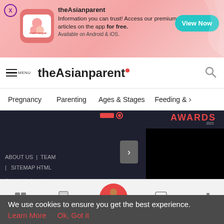[Figure (screenshot): Ad banner for theAsianparent app with pink gradient background, app icon, text about premium articles, and 'View Now' button]
[Figure (screenshot): theAsianparent website navigation bar with hamburger menu, logo, and search icon]
[Figure (screenshot): Category navigation bar with Pregnancy, Parenting, Ages & Stages, Feeding & links]
[Figure (screenshot): Dark section of website with AWARDS text, chevron button, ABOUT US | TEAM | SITEMAP HTML links, and black video area]
[Figure (screenshot): Local ad strip showing Dine-in, Curbside pickup, Easy Online Ordering with McAl branding]
[Figure (screenshot): Bottom navigation bar with Tools, Articles, center pregnancy icon, Feed, Poll tabs]
We use cookies to ensure you get the best experience.
Learn More   Ok, Got it